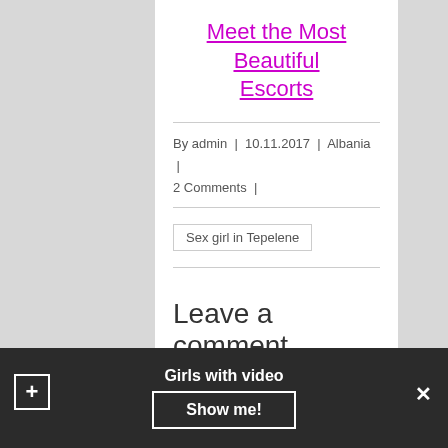Meet the Most Beautiful Escorts
By admin | 10.11.2017 | Albania | 2 Comments |
Sex girl in Tepelene
Leave a comment
Your email address will not be published. Required fields are marked with *
Girls with video
Show me!